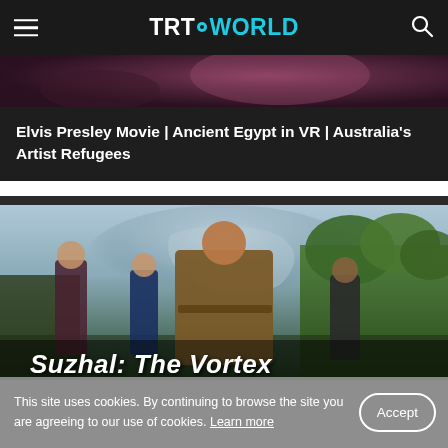TRT WORLD
[Figure (screenshot): Dark purplish blurred header image strip at top of article]
Elvis Presley Movie | Ancient Egypt in VR | Australia's Artist Refugees
[Figure (photo): Movie poster for 'Suzhal: The Vortex' showing four people including a police officer in center, with green trees and dramatic sky background]
This site uses cookies. By continuing to browse the site you are agreeing to our use of cookies. Learn more